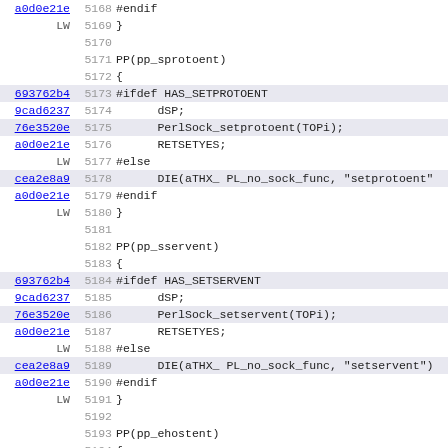[Figure (screenshot): Source code viewer showing Perl/C code lines 5168-5199 with memory addresses, line numbers, and code content including pp_sprotoent, pp_sservent, and pp_ehostent function definitions with #ifdef HAS_SETPROTOENT, HAS_SETSERVENT, HAS_ENDHOSTENT preprocessor conditionals]